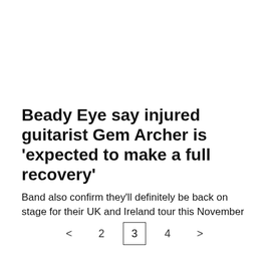Beady Eye say injured guitarist Gem Archer is 'expected to make a full recovery'
Band also confirm they'll definitely be back on stage for their UK and Ireland tour this November